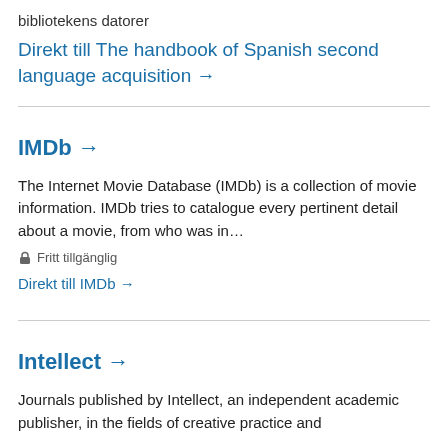bibliotekens datorer
Direkt till The handbook of Spanish second language acquisition →
IMDb →
The Internet Movie Database (IMDb) is a collection of movie information. IMDb tries to catalogue every pertinent detail about a movie, from who was in…
🔒 Fritt tillgänglig
Direkt till IMDb →
Intellect →
Journals published by Intellect, an independent academic publisher, in the fields of creative practice and